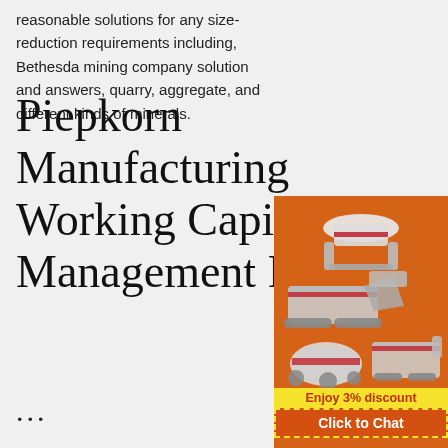reasonable solutions for any size-reduction requirements including, Bethesda mining company solution and answers, quarry, aggregate, and different kinds of minerals.
Piepkorn Manufacturing Working Capital Management Par...
...
Dec 14, 2020 · The company currently has a cash balance of $164,000 and plans to purchase new folding machinery in the fourth quarter at a cost of $240,000. The purchase of the machinery will be made with cash because of the discount offered The company's policy is to maintain a target cash balance of $100,000 All sales and all purchases are made on
[Figure (illustration): Orange advertisement panel with mining/crushing machinery illustrations (cone crusher, jaw crusher, ball mill), yellow 'Enjoy 3% discount' bar, orange 'Click to Chat' button with dashed border, grey Enquiry section with limingjlmofen@sina.com email]
Enquiry
limingjlmofen@sina.com